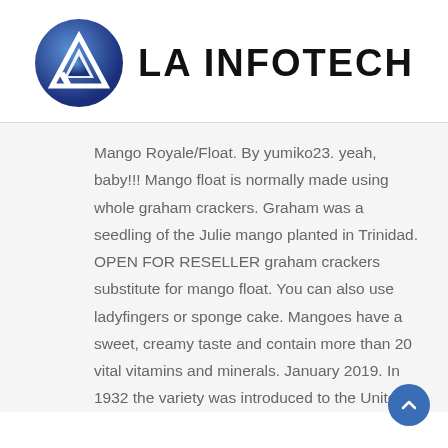[Figure (logo): LA Infotech logo: blue circular emblem with white triangle/arrow shape, followed by bold text 'LA INFOTECH']
Mango Royale/Float. By yumiko23. yeah, baby!!! Mango float is normally made using whole graham crackers. Graham was a seedling of the Julie mango planted in Trinidad. OPEN FOR RESELLER graham crackers substitute for mango float. You can also use ladyfingers or sponge cake. Mangoes have a sweet, creamy taste and contain more than 20 vital vitamins and minerals. January 2019. In 1932 the variety was introduced to the United States by the USDA through